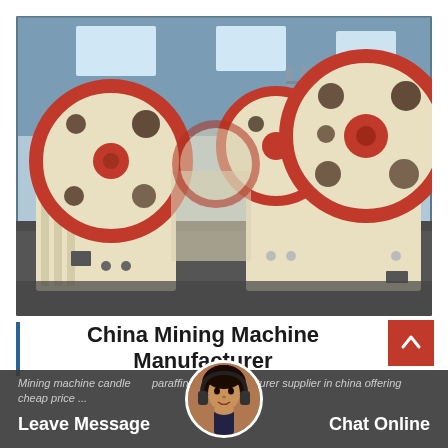[Figure (photo): Industrial jaw crusher machines in a factory/warehouse setting. Two large cream/beige colored jaw crushers with red and dark circular flywheel discs visible. Industrial building with steel framework visible in the background.]
China Mining Machine Manufacturer
Mining machine candle paraffin wax manufacturer supplier in china offering cheap price...
Leave Message
Chat Online